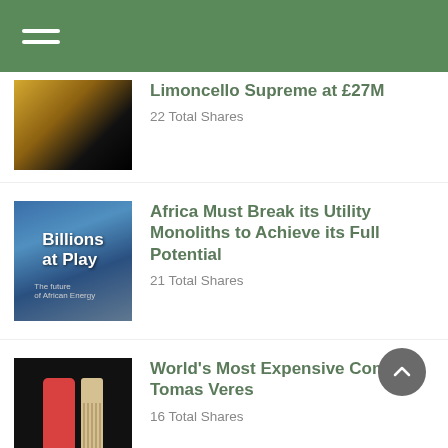Limoncello Supreme at £27M — 22 Total Shares
Africa Must Break its Utility Monoliths to Achieve its Full Potential — 21 Total Shares
World's Most Expensive Comb By Tomas Veres — 16 Total Shares
9 Fun Things to Do in Tallahassee, Florida